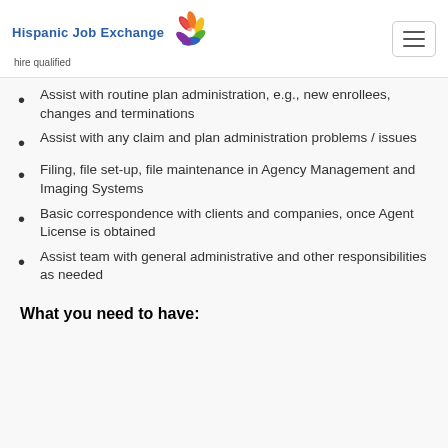Hispanic Job Exchange — hire qualified
Assist with routine plan administration, e.g., new enrollees, changes and terminations
Assist with any claim and plan administration problems / issues
Filing, file set-up, file maintenance in Agency Management and Imaging Systems
Basic correspondence with clients and companies, once Agent License is obtained
Assist team with general administrative and other responsibilities as needed
What you need to have: